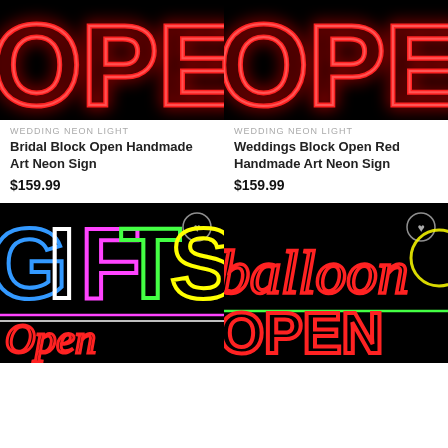[Figure (photo): Neon 'OPEN' sign in red on black background - product 1 (Bridal Block Open Handmade Art Neon Sign)]
WEDDING NEON LIGHT
Bridal Block Open Handmade Art Neon Sign
$159.99
[Figure (photo): Neon 'OPEN' sign in red on black background - product 2 (Weddings Block Open Red Handmade Art Neon Sign)]
WEDDING NEON LIGHT
Weddings Block Open Red Handmade Art Neon Sign
$159.99
[Figure (photo): Colorful neon 'GIFTS Open' sign on black background with multicolor letters]
[Figure (photo): Neon 'balloon OPEN' sign in red and green on black background]